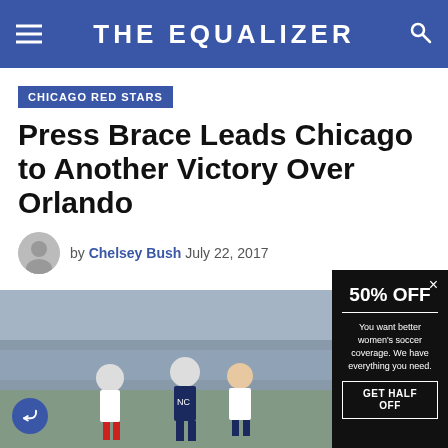THE EQUALIZER
CHICAGO RED STARS
Press Brace Leads Chicago to Another Victory Over Orlando
by Chelsey Bush  July 22, 2017
[Figure (photo): Soccer players on field, two players in white and red kit and one in dark navy kit with NC text visible]
50% OFF
You want better women's soccer coverage. We have everything you need.
GET HALF OFF